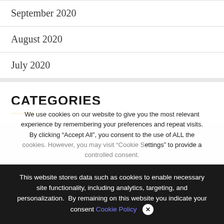September 2020
August 2020
July 2020
CATEGORIES
We use cookies on our website to give you the most relevant experience by remembering your preferences and repeat visits. By clicking “Accept All”, you consent to the use of ALL the cookies. However, you may visit “Cookie Settings” to provide a controlled consent.
This website stores data such as cookies to enable necessary site functionality, including analytics, targeting, and personalization. By remaining on this website you indicate your consent Cookie Policy